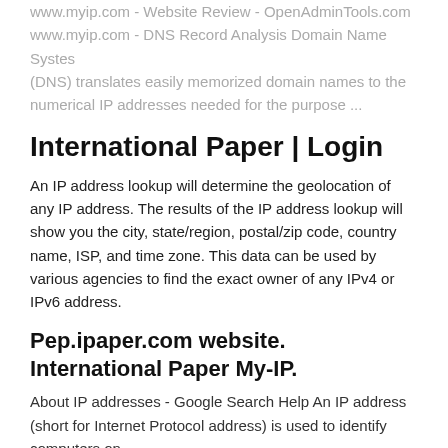www.myip.com - Website Review - OpenAdminTools.com www.myip.com - DNS Record Analysis Domain Name Systes (DNS) translates easily memorized domain names to the numerical IP addresses needed for the purpose ...
International Paper | Login
An IP address lookup will determine the geolocation of any IP address. The results of the IP address lookup will show you the city, state/region, postal/zip code, country name, ISP, and time zone. This data can be used by various agencies to find the exact owner of any IPv4 or IPv6 address.
Pep.ipaper.com website. International Paper My-IP.
About IP addresses - Google Search Help An IP address (short for Internet Protocol address) is used to identify computers on